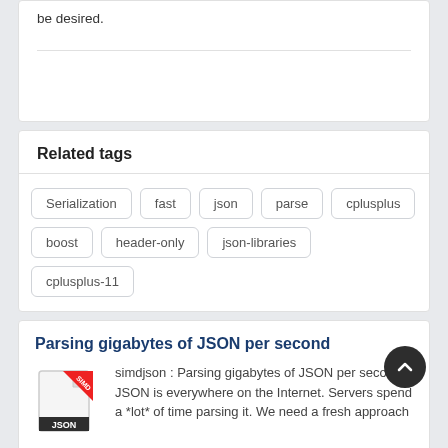be desired.
Related tags
Serialization
fast
json
parse
cplusplus
boost
header-only
json-libraries
cplusplus-11
Parsing gigabytes of JSON per second
[Figure (illustration): JSON file icon with SIMD ribbon badge]
simdjson : Parsing gigabytes of JSON per second JSON is everywhere on the Internet. Servers spend a *lot* of time parsing it. We need a fresh approach
Aug 23, 2022